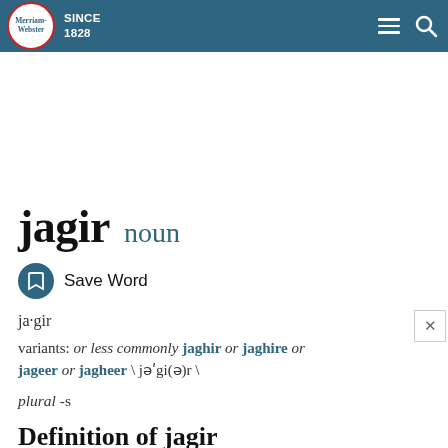Merriam-Webster SINCE 1828
jagir noun
Save Word
ja·gir
variants: or less commonly jaghir or jaghire or jageer or jagheer \ jə'gi(ə)r \
plural -s
Definition of jagir